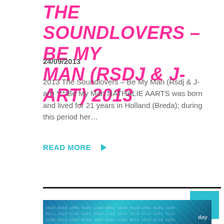THE SOUNDLOVERS – BE MY MAN (RSDJ & J-ART) 2013
24/09/2013
2013 The Soundlovers – Be My Man (Rsdj & J-art) *** Be My Man NATHALIE AARTS was born and lived for 21 years in Holland (Breda); during this period her…
READ MORE ▶
[Figure (photo): Thumbnail image with digital binary/circuit board pattern in teal and blue tones]